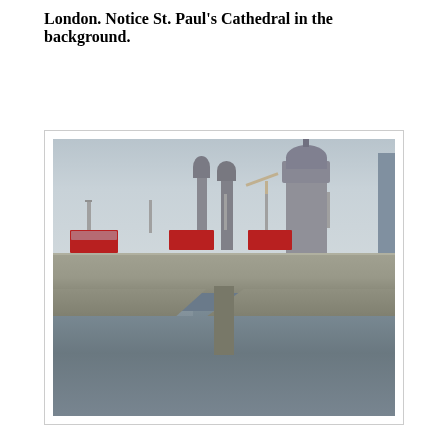London.  Notice St. Paul's Cathedral in the background.
[Figure (photo): Photograph of a bridge over the River Thames in London with red double-decker buses crossing, and St. Paul's Cathedral dome visible in the background skyline against an overcast sky.]